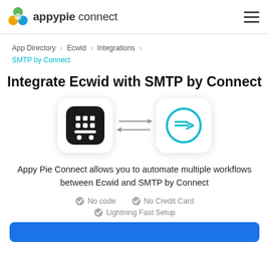appypie connect
App Directory > Ecwid > Integrations > SMTP by Connect
Integrate Ecwid with SMTP by Connect
[Figure (illustration): Two app icons side by side: Ecwid (black rounded square with white shopping cart icon) and SMTP by Connect (white rounded square with cyan circle envelope/email icon), connected by bidirectional arrows in between.]
Appy Pie Connect allows you to automate multiple workflows between Ecwid and SMTP by Connect
No code   No Credit Card   Lightning Fast Setup